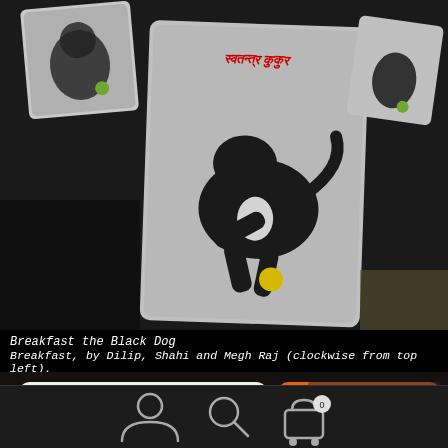[Figure (photo): Three cards/prints showing a black dog playing with a yellow ball, arranged on a dark surface. The cards are illustrated artworks labeled with text including Devanagari script (स्वतन्त्र कुकुर).]
Breakfast the Black Dog
Breakfast, by Dilip, Shahi and Megh Raj (clockwise from top left).
[Figure (photo): Two illustrated cards of a brown dog with text: left card reads 'Enlightened DOG / धर्म कुकुर', right card reads 'ENLIGHTEND DOG' vertically on orange background. A third card at bottom with Devanagari text 'धर्म कुकुर' partially visible.]
[Figure (screenshot): App navigation bar at bottom with three icons: user/person icon, search/magnifying glass icon, and shopping cart icon with badge showing 0.]